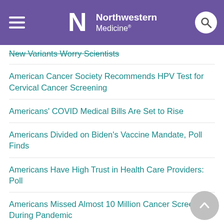Northwestern Medicine
New Variants Worry Scientists
American Cancer Society Recommends HPV Test for Cervical Cancer Screening
Americans' COVID Medical Bills Are Set to Rise
Americans Divided on Biden's Vaccine Mandate, Poll Finds
Americans Have High Trust in Health Care Providers: Poll
Americans Missed Almost 10 Million Cancer Screenings During Pandemic
Americans on the Move as Post-Pandemic Life Begins
Among Vaccinated, Omicron Symptoms Ease 2 Days Earlier Than With Delta